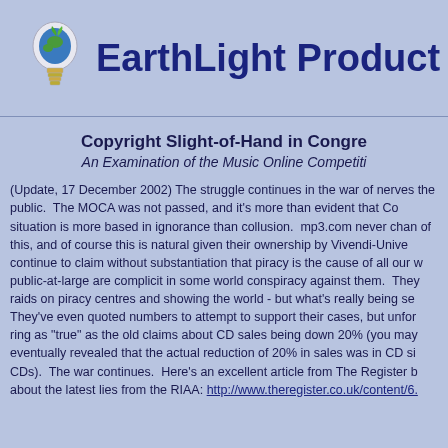[Figure (logo): EarthLight Products logo with lightbulb icon containing a globe with a green leaf, and bold dark blue text reading 'EarthLight Products']
Copyright Slight-of-Hand in Congress
An Examination of the Music Online Competition
(Update, 17 December 2002) The struggle continues in the war of nerves against the public. The MOCA was not passed, and it's more than evident that Congress situation is more based in ignorance than collusion. mp3.com never changed any of this, and of course this is natural given their ownership by Vivendi-Universal. continue to claim without substantiation that piracy is the cause of all our woes, public-at-large are complicit in some world conspiracy against them. They've made raids on piracy centres and showing the world - but what's really being seen? They've even quoted numbers to attempt to support their cases, but unfortunately ring as "true" as the old claims about CD sales being down 20% (you may eventually revealed that the actual reduction of 20% in sales was in CD singles, not CDs). The war continues. Here's an excellent article from The Register b about the latest lies from the RIAA: http://www.theregister.co.uk/content/6.